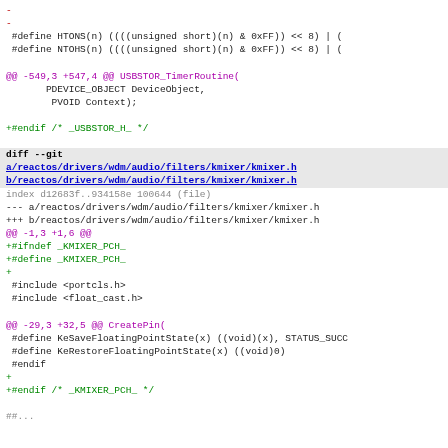- 
- 
 #define HTONS(n) ((((unsigned short)(n) & 0xFF)) << 8) | (
 #define NTOHS(n) ((((unsigned short)(n) & 0xFF)) << 8) | (

@@ -549,3 +547,4 @@ USBSTOR_TimerRoutine(
       PDEVICE_OBJECT DeviceObject,
        PVOID Context);

+#endif /* _USBSTOR_H_ */

diff --git
a/reactos/drivers/wdm/audio/filters/kmixer/kmixer.h
b/reactos/drivers/wdm/audio/filters/kmixer/kmixer.h
index d12683f..934158e 100644 (file)
--- a/reactos/drivers/wdm/audio/filters/kmixer/kmixer.h
+++ b/reactos/drivers/wdm/audio/filters/kmixer/kmixer.h
@@ -1,3 +1,6 @@
+#ifndef _KMIXER_PCH_
+#define _KMIXER_PCH_
+
 #include <portcls.h>
 #include <float_cast.h>

@@ -29,3 +32,5 @@ CreatePin(
 #define KeSaveFloatingPointState(x) ((void)(x), STATUS_SUCC
 #define KeRestoreFloatingPointState(x) ((void)0)
 #endif
+
+#+endif /* _KMIXER_PCH_ */

##...